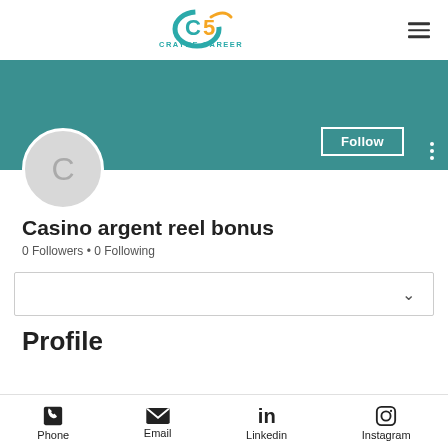[Figure (logo): Crayne Career Solutions logo with teal and orange icon and text]
[Figure (screenshot): User profile banner in teal with Follow button and avatar circle with letter C]
Casino argent reel bonus
0 Followers • 0 Following
[Figure (other): Collapsed content box with chevron dropdown]
Profile
Phone  Email  Linkedin  Instagram